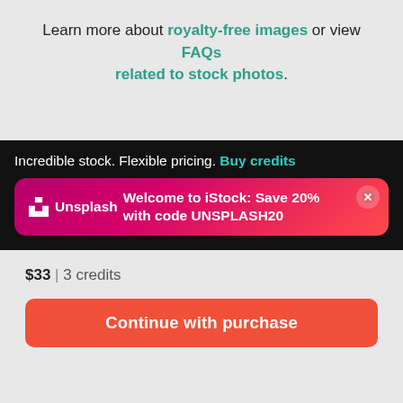Learn more about royalty-free images or view FAQs related to stock photos.
[Figure (screenshot): Dark promotional banner for iStock with Unsplash promo code. Shows 'Incredible stock. Flexible pricing. Buy credits' and a pink/magenta banner: 'Unsplash Welcome to iStock: Save 20% with code UNSPLASH20' with a close button.]
$33 | 3 credits
Continue with purchase